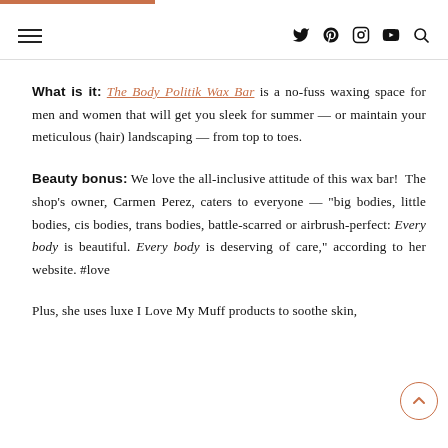Navigation header with hamburger menu and social icons (Twitter, Pinterest, Instagram, YouTube, Search)
What is it: The Body Politik Wax Bar is a no-fuss waxing space for men and women that will get you sleek for summer — or maintain your meticulous (hair) landscaping — from top to toes.
Beauty bonus: We love the all-inclusive attitude of this wax bar! The shop's owner, Carmen Perez, caters to everyone — "big bodies, little bodies, cis bodies, trans bodies, battle-scarred or airbrush-perfect: Every body is beautiful. Every body is deserving of care," according to her website. #love
Plus, she uses luxe I Love My Muff products to soothe skin,